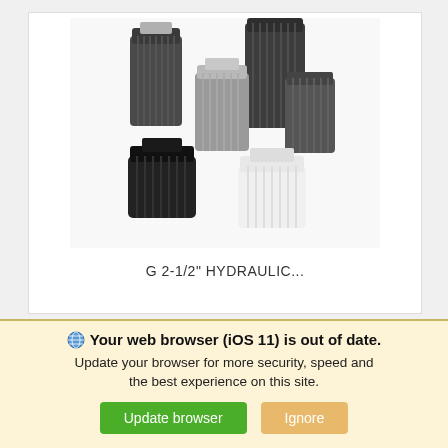[Figure (photo): Group of hydraulic filter elements of various sizes and colors (dark gray/black, silver, white), cylindrical with ribbed bodies and threaded fittings on top.]
G 2-1/2" HYDRAULIC...
[Figure (photo): Partial view of hydraulic filter elements, showing two cylindrical filters with threaded fittings.]
Your web browser (iOS 11) is out of date. Update your browser for more security, speed and the best experience on this site.
Update browser   Ignore